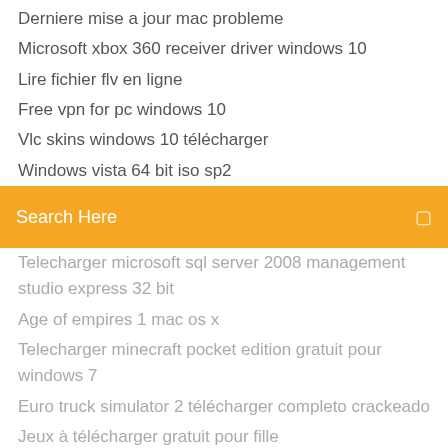Derniere mise a jour mac probleme
Microsoft xbox 360 receiver driver windows 10
Lire fichier flv en ligne
Free vpn for pc windows 10
Vlc skins windows 10 télécharger
Windows vista 64 bit iso sp2
[Figure (screenshot): Orange search bar with 'Search Here' placeholder text and a search icon on the right]
Telecharger microsoft sql server 2008 management studio express 32 bit
Age of empires 1 mac os x
Telecharger minecraft pocket edition gratuit pour windows 7
Euro truck simulator 2 télécharger completo crackeado
Jeux à télécharger gratuit pour fille
Convertir doc powerpoint en pdf
Assassins creed 2 pc config
Telecharger gratuitement jeux 3ds
Transferer contact carte sim vers telephone samsung i5